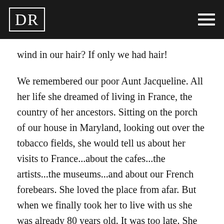DR
wind in our hair? If only we had hair!
We remembered our poor Aunt Jacqueline. All her life she dreamed of living in France, the country of her ancestors. Sitting on the porch of our house in Maryland, looking out over the tobacco fields, she would tell us about her visits to France...about the cafes...the artists...the museums...and about our French forebears. She loved the place from afar. But when we finally took her to live with us she was already 80 years old. It was too late. She had forgotten why she liked the place so much. The thrill had gone out of it.
We don't know what lesson to take from this. These